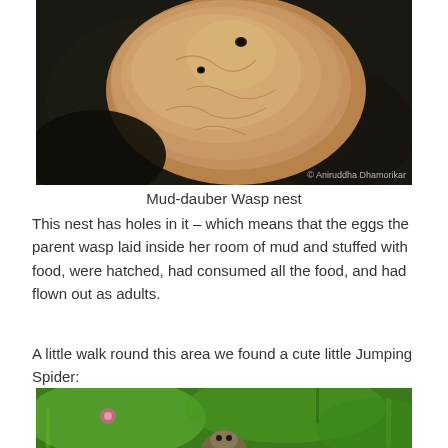[Figure (photo): Close-up photograph of a mud-dauber wasp nest on a dark surface, showing a sandy/clay-coloured mud structure with holes. Photo credit: © Aniruddha Dhamorikar]
Mud-dauber Wasp nest
This nest has holes in it – which means that the eggs the parent wasp laid inside her room of mud and stuffed with food, were hatched, had consumed all the food, and had flown out as adults.
A little walk round this area we found a cute little Jumping Spider:
[Figure (photo): Photograph of a small Jumping Spider on green vegetation with a blurred green background]